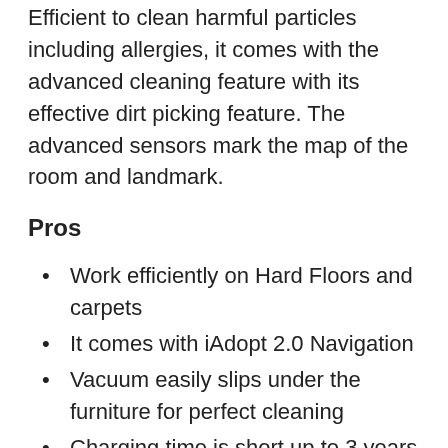Efficient to clean harmful particles including allergies, it comes with the advanced cleaning feature with its effective dirt picking feature. The advanced sensors mark the map of the room and landmark.
Pros
Work efficiently on Hard Floors and carpets
It comes with iAdopt 2.0 Navigation
Vacuum easily slips under the furniture for perfect cleaning
Charging time is short up to 3 years
Enabled with the Wi-FI and Alexa enabled
Perfect for the homes with pet